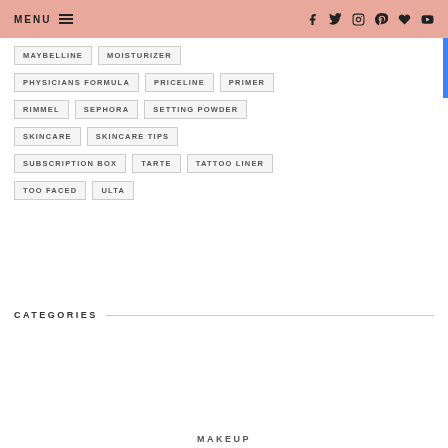MENU | social icons: facebook, twitter, instagram, pinterest, heart, youtube
MAYBELLINE
MOISTURIZER
PHYSICIANS FORMULA
PRICELINE
PRIMER
RIMMEL
SEPHORA
SETTING POWDER
SKINCARE
SKINCARE TIPS
SUBSCRIPTION BOX
TARTE
TATTOO LINER
TOO FACED
ULTA
CATEGORIES
MAKEUP